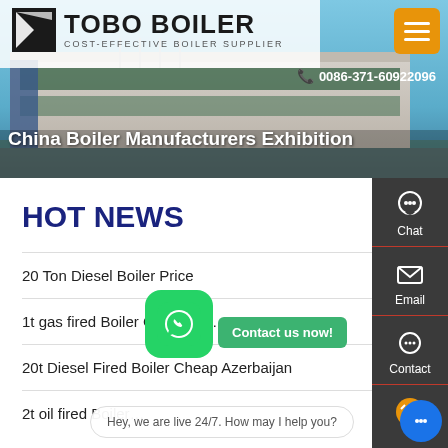[Figure (photo): TOBO Boiler company building exterior with banner header showing logo, phone number, and navigation]
TOBO BOILER - COST-EFFECTIVE BOILER SUPPLIER
0086-371-60922096
China Boiler Manufacturers Exhibition
HOT NEWS
20 Ton Diesel Boiler Price
1t gas fired Boiler Cheap Mo...
20t Diesel Fired Boiler Cheap Azerbaijan
2t oil fired Boiler...
Hey, we are live 24/7. How may I help you?
Chat
Email
Contact
Contact us now!